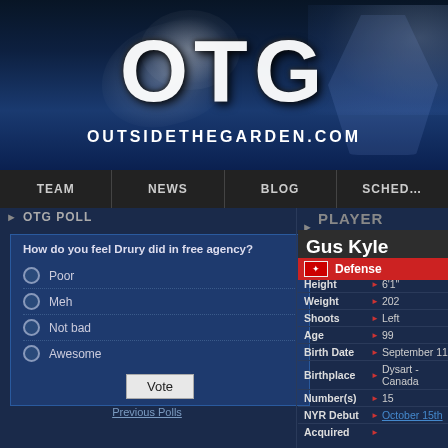[Figure (logo): OTG (Outside The Garden) website header banner with large OTG logo text and OUTSIDETHEGARDEN.COM URL, dark blue hockey-themed background with water splash effects]
TEAM | NEWS | BLOG | SCHEDULE
OTG POLL
How do you feel Drury did in free agency?
Poor
Meh
Not bad
Awesome
Vote
Previous Polls
PLAYER PROFILE
Gus Kyle
Defense
| Field |  | Value |
| --- | --- | --- |
| Height | ▶ | 6'1" |
| Weight | ▶ | 202 |
| Shoots | ▶ | Left |
| Age | ▶ | 99 |
| Birth Date | ▶ | September 11 |
| Birthplace | ▶ | Dysart - Canada |
| Number(s) | ▶ | 15 |
| NYR Debut | ▶ | October 15th |
| Acquired | ▶ |  |